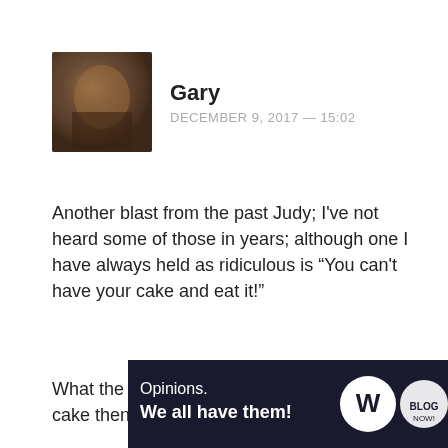[Figure (photo): Avatar photo of user Gary — dark brownish book or abstract image]
Gary
DECEMBER 9, 2017 — 15:02
Another blast from the past Judy; I've not heard some of those in years; although one I have always held as ridiculous is “You can't have your cake and eat it!”
What the hell is the point of having the damn cake then?
“There’s not enough room to swing a cat” was also another
Privacy & Cookies: This site uses cookies. By continuing to use this website, you agree to their use.
To find out more, including how to control cookies, see here: Cookie Policy
Close and accept
[Figure (screenshot): WordPress advertisement banner: Opinions. We all have them!]